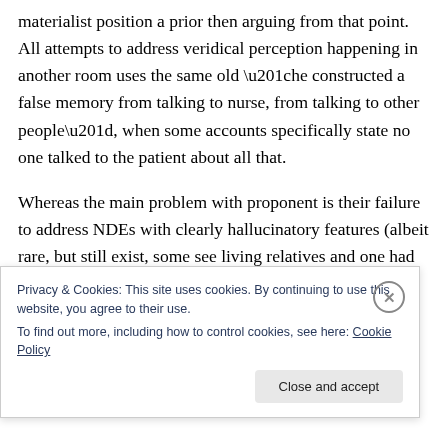materialist position a prior then arguing from that point. All attempts to address veridical perception happening in another room uses the same old “he constructed a false memory from talking to nurse, from talking to other people”, when some accounts specifically state no one talked to the patient about all that.
Whereas the main problem with proponent is their failure to address NDEs with clearly hallucinatory features (albeit rare, but still exist, some see living relatives and one had Jesus
Privacy & Cookies: This site uses cookies. By continuing to use this website, you agree to their use.
To find out more, including how to control cookies, see here: Cookie Policy